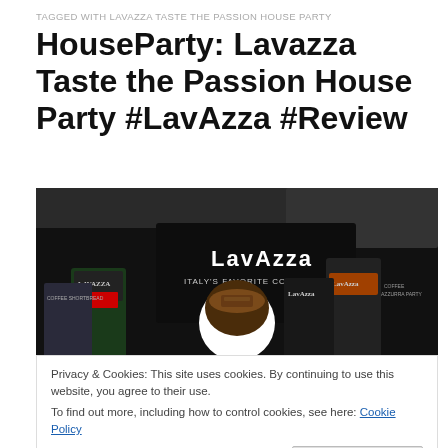TAGGED WITH LAVAZZA TASTE THE PASSION HOUSE PARTY
HouseParty: Lavazza Taste the Passion House Party #LavAzza #Review
[Figure (photo): Photo of Lavazza coffee products including several coffee bags, a cup of coffee with chocolate shavings, displayed on a dark Lavazza branded apron/tablecloth]
Privacy & Cookies: This site uses cookies. By continuing to use this website, you agree to their use.
To find out more, including how to control cookies, see here: Cookie Policy
Lavazza has been a household name and favorite for over